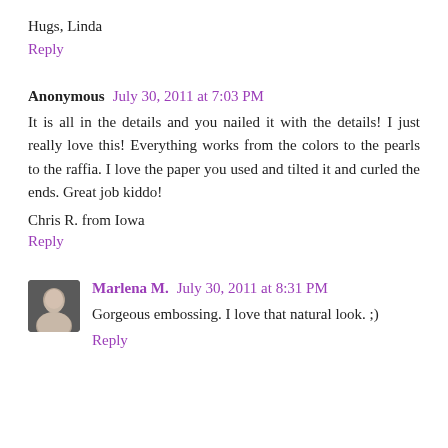Hugs, Linda
Reply
Anonymous  July 30, 2011 at 7:03 PM
It is all in the details and you nailed it with the details! I just really love this! Everything works from the colors to the pearls to the raffia. I love the paper you used and tilted it and curled the ends. Great job kiddo!
Chris R. from Iowa
Reply
Marlena M.  July 30, 2011 at 8:31 PM
Gorgeous embossing. I love that natural look. ;)
Reply